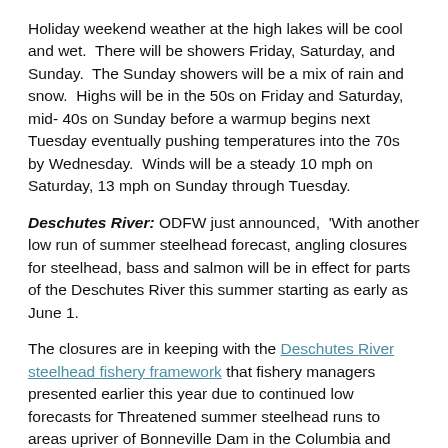Holiday weekend weather at the high lakes will be cool and wet.  There will be showers Friday, Saturday, and Sunday.  The Sunday showers will be a mix of rain and snow.  Highs will be in the 50s on Friday and Saturday, mid- 40s on Sunday before a warmup begins next Tuesday eventually pushing temperatures into the 70s by Wednesday.  Winds will be a steady 10 mph on Saturday, 13 mph on Sunday through Tuesday.
Deschutes River: ODFW just announced,  'With another low run of summer steelhead forecast, angling closures for steelhead, bass and salmon will be in effect for parts of the Deschutes River this summer starting as early as June 1.
The closures are in keeping with the Deschutes River steelhead fishery framework that fishery managers presented earlier this year due to continued low forecasts for Threatened summer steelhead runs to areas upriver of Bonneville Dam in the Columbia and Snake River Basins.
The Lower Deschutes is steady at 3940 CFS in Madras and